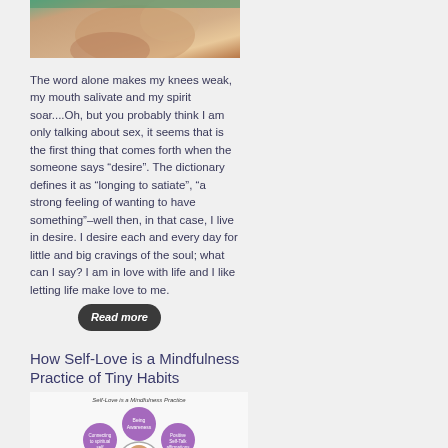[Figure (photo): Close-up photo of a person's face/neck area, partially cropped at top]
The word alone makes my knees weak, my mouth salivate and my spirit soar....Oh, but you probably think I am only talking about sex, it seems that is the first thing that comes forth when the someone says “desire”. The dictionary defines it as “longing to satiate”, “a strong feeling of wanting to have something”–well then, in that case, I live in desire. I desire each and every day for little and big cravings of the soul; what can I say? I am in love with life and I like letting life make love to me.
How Self-Love is a Mindfulness Practice of Tiny Habits
[Figure (infographic): Infographic showing self-love mindfulness practice with purple circles arranged in a flower pattern around a central photo of a woman, with text labels in each circle]